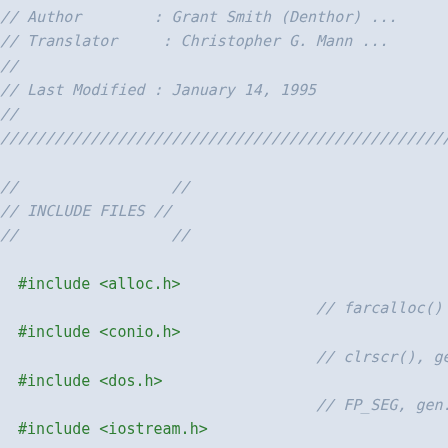// Author        : Grant Smith (Denthor) ...
// Translator     : Christopher G. Mann ...
//
// Last Modified : January 14, 1995
//
////////////////////////////////////////////////////

//                 //
// INCLUDE FILES //
//                 //

    #include <alloc.h>
                                    // farcalloc()
    #include <conio.h>
                                    // clrscr(), ge...
    #include <dos.h>
                                    // FP_SEG, gen...
    #include <iostream.h>
                                    // cout
    #include <math.h>
                                    // sin(), cos(...